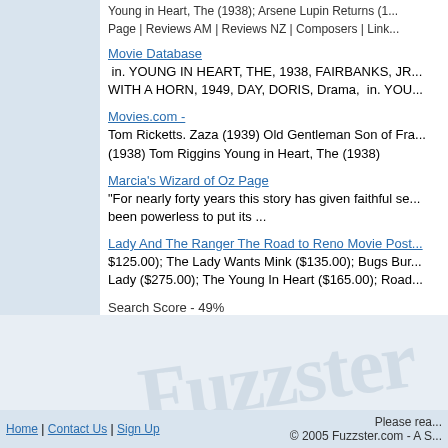Young in Heart, The (1938); Arsene Lupin Returns (1... Page | Reviews AM | Reviews NZ | Composers | Link...
Movie Database
 in. YOUNG IN HEART, THE, 1938, FAIRBANKS, JR... WITH A HORN, 1949, DAY, DORIS, Drama, in. YOU...
Movies.com -
Tom Ricketts. Zaza (1939) Old Gentleman Son of Fra... (1938) Tom Riggins Young in Heart, The (1938)
Marcia's Wizard of Oz Page
"For nearly forty years this story has given faithful se... been powerless to put its ...
Lady And The Ranger The Road to Reno Movie Post...
$125.00); The Lady Wants Mink ($135.00); Bugs Bur... Lady ($275.00); The Young In Heart ($165.00); Road...
Search Score - 49%
Beauty and the Barge (1937)
Directed by : Henry Edwards (I) Written by :W.W. Jacobs (pla... Captain Barley Judy Gunn as. Ethel Smedley Ja
Deep Search for Beauty and the Barge (1937)
Home | Contact Us | Sign Up                Please rea... © 2005 Fuzzster.com - A S...